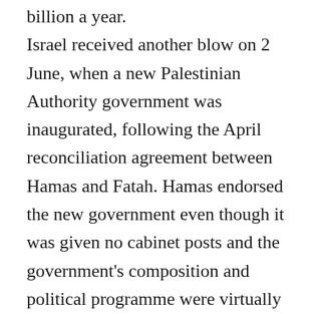billion a year. Israel received another blow on 2 June, when a new Palestinian Authority government was inaugurated, following the April reconciliation agreement between Hamas and Fatah. Hamas endorsed the new government even though it was given no cabinet posts and the government's composition and political programme were virtually indistinguishable from its predecessor's. With barely a protest from the Islamists, Abbas repeatedly and loudly proclaimed that the government accepted the Middle East Quartet's demands: that it recognise Israel, renounce violence